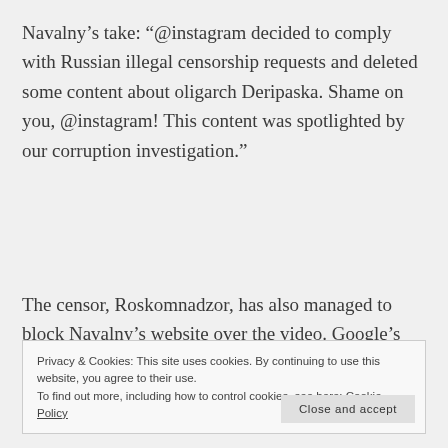Navalny’s take: “@instagram decided to comply with Russian illegal censorship requests and deleted some content about oligarch Deripaska. Shame on you, @instagram! This content was spotlighted by our corruption investigation.”
The censor, Roskomnadzor, has also managed to block Navalny’s website over the video. Google’s
Privacy & Cookies: This site uses cookies. By continuing to use this website, you agree to their use.
To find out more, including how to control cookies, see here: Cookie Policy
Close and accept